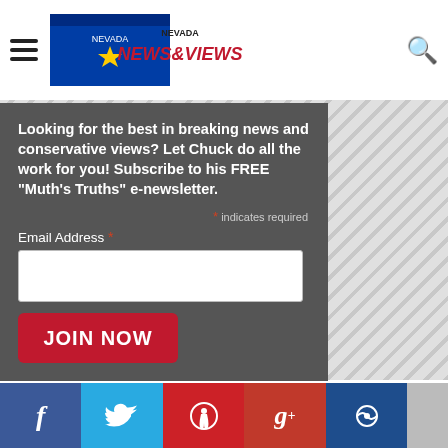Nevada News & Views
Looking for the best in breaking news and conservative views? Let Chuck do all the work for you! Subscribe to his FREE "Muth's Truths" e-newsletter.
* indicates required
Email Address *
JOIN NOW